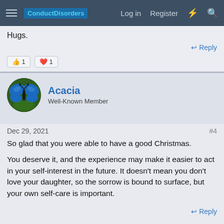ConductDisorders | Log in | Register
Hugs.
👍 1  ❤️ 1
Acacia
Well-Known Member
Dec 29, 2021  #4
So glad that you were able to have a good Christmas.

You deserve it, and the experience may make it easier to act in your self-interest in the future. It doesn't mean you don't love your daughter, so the sorrow is bound to surface, but your own self-care is important.